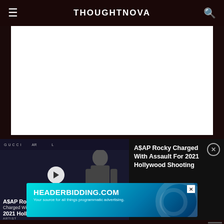THOUGHTNOVA
[Figure (screenshot): White content area representing webpage article content]
[Figure (screenshot): Video thumbnail popup showing A$AP Rocky in suit with GUCCI branding and play button overlay. Text reads: A$AP Roo... Charged With Assault For 2021 Hollywood Shooting]
A$AP Rocky Charged With Assault For 2021 Hollywood Shooting
[Figure (screenshot): Advertisement banner for HEADERBIDDING.COM - Your source for all things programmatic advertising.]